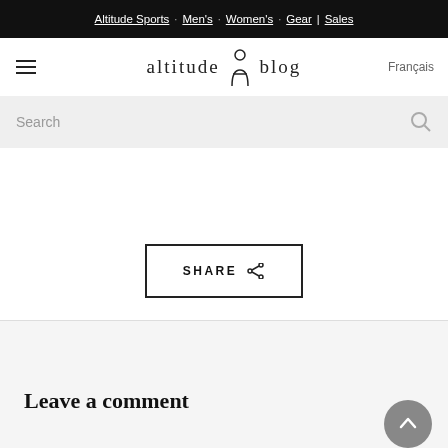Altitude Sports · Men's · Women's · Gear | Sales
[Figure (logo): Altitude Blog logo with hamburger menu and Français link]
Search
SHARE
Leave a comment